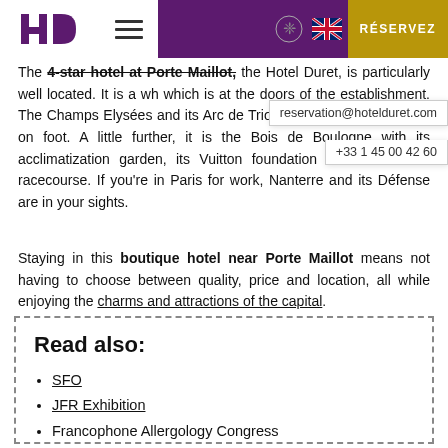Hotel Duret — RÉSERVEZ header with logo and navigation
The 4-star hotel at Porte Maillot, the Hotel Duret, is particularly well located. It is a wh... which is at the doors of the establishment. The Champs Elysées and its Arc de Triomphe are less than ... away on foot. A little further, it is the Bois de Boulogne with its acclimatization garden, its Vuitton foundation and the Auteuil racecourse. If you're in Paris for work, Nanterre and its Défense are in your sights.
Staying in this boutique hotel near Porte Maillot means not having to choose between quality, price and location, all while enjoying the charms and attractions of the capital.
Read also:
SFO
JFR Exhibition
Francophone Allergology Congress